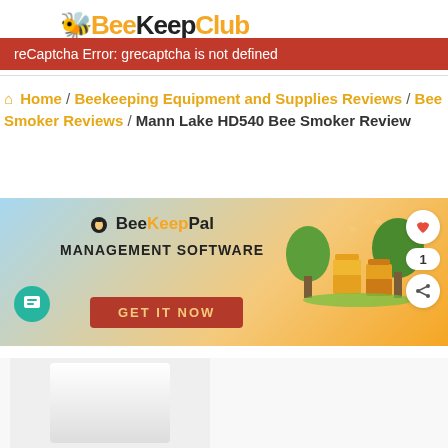BeeKeepClub
reCaptcha Error: grecaptcha is not defined
Home / Beekeeping Equipment and Supplies Reviews / Bee Smoker Reviews / Mann Lake HD540 Bee Smoker Review
[Figure (illustration): BeeKeepPal Management Software advertisement banner with GET IT NOW button, illustration of beehives and trees on right side]
[Figure (photo): Partial product image of Mann Lake HD540 Bee Smoker at bottom of page]